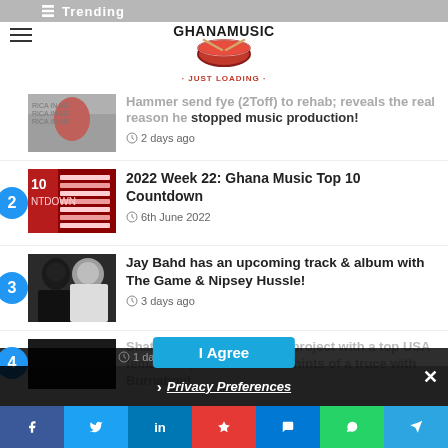Trending
[Figure (logo): GhanaMusic logo with drum icon]
Hammer send fye (2Toff) to rehab; reveals the real reason he stopped music production! — 2 days ago
2022 Week 22: Ghana Music Top 10 Countdown — 6th June 2022
Jay Bahd has an upcoming track & album with The Game & Nipsey Hussle! — 3 days ago
Shatta Wale lands another project with a top USA female act, Jhonni Blaze & hints of a truce with Burnaboy! — 1 day ago
Privacy Preferences | I Agree
Social share bar: Facebook, Twitter, LinkedIn, Share, Messenger, WhatsApp, Telegram